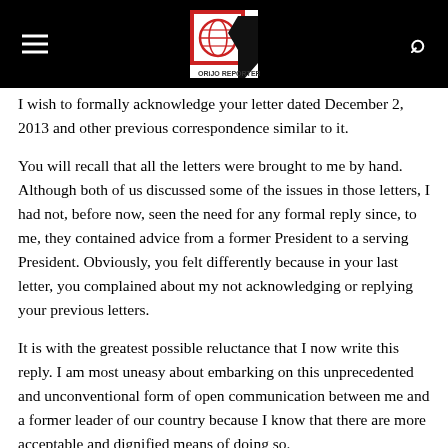Orijo Reporter logo with hamburger menu and search icon
I wish to formally acknowledge your letter dated December 2, 2013 and other previous correspondence similar to it.
You will recall that all the letters were brought to me by hand. Although both of us discussed some of the issues in those letters, I had not, before now, seen the need for any formal reply since, to me, they contained advice from a former President to a serving President. Obviously, you felt differently because in your last letter, you complained about my not acknowledging or replying your previous letters.
It is with the greatest possible reluctance that I now write this reply. I am most uneasy about embarking on this unprecedented and unconventional form of open communication between me and a former leader of our country because I know that there are more acceptable and dignified means of doing so.